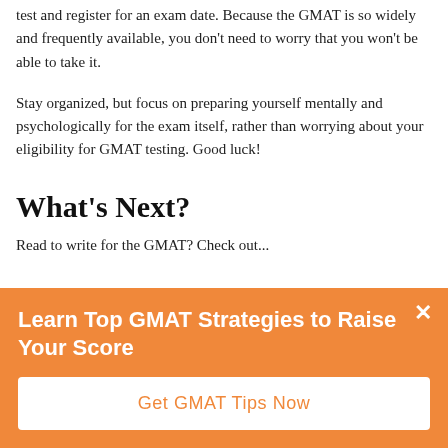test and register for an exam date. Because the GMAT is so widely and frequently available, you don't need to worry that you won't be able to take it.
Stay organized, but focus on preparing yourself mentally and psychologically for the exam itself, rather than worrying about your eligibility for GMAT testing. Good luck!
What's Next?
Read to write for the GMAT? Check out...
Learn Top GMAT Strategies to Raise Your Score
Get GMAT Tips Now